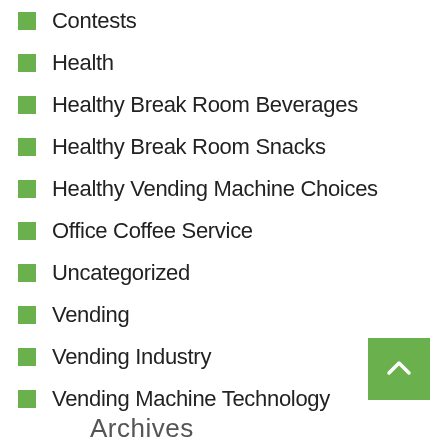Contests
Health
Healthy Break Room Beverages
Healthy Break Room Snacks
Healthy Vending Machine Choices
Office Coffee Service
Uncategorized
Vending
Vending Industry
Vending Machine Technology
Archives